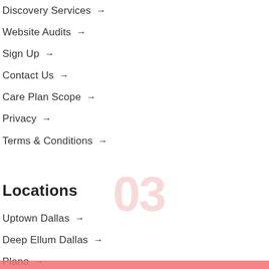Discovery Services →
Website Audits →
Sign Up →
Contact Us →
Care Plan Scope →
Privacy →
Terms & Conditions →
[Figure (other): Large decorative number '03' in light pink/salmon color watermark]
Locations
Uptown Dallas →
Deep Ellum Dallas →
Plano →